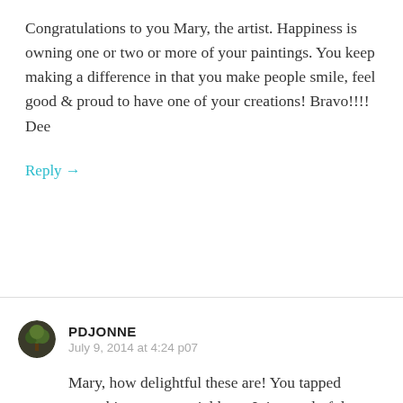Congratulations to you Mary, the artist. Happiness is owning one or two or more of your paintings. You keep making a difference in that you make people smile, feel good & proud to have one of your creations! Bravo!!!!
Dee
Reply →
PDJONNE
July 9, 2014 at 4:24 p07
Mary, how delightful these are! You tapped something very special here. It is wonderful to see. WIll be visiting in August and look forward to seeing more at Jack's Outback.